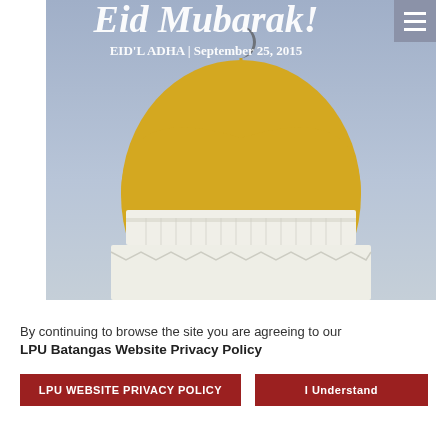[Figure (photo): Mosque dome with golden top and crescent moon symbol against a blue sky, with overlaid text 'Eid Mubarak! EID'L ADHA | September 25, 2015' and a hamburger menu icon in the top-right corner.]
By continuing to browse the site you are agreeing to our LPU Batangas Website Privacy Policy
LPU WEBSITE PRIVACY POLICY
I Understand